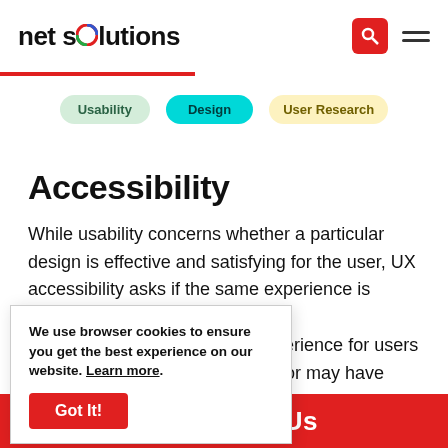net solutions
[Figure (screenshot): Navigation tag strip with three category tags: Usability (green), Design (cyan/teal), User Research (yellow)]
Accessibility
While usability concerns whether a particular design is effective and satisfying for the user, UX accessibility asks if the same experience is universal to all users. ...quality of experience for users ...istive devices or may have other ...signers will consider colors and ...rs, labeling practices, tags for
We use browser cookies to ensure you get the best experience on our website. Learn more. Got It!
ontact Us